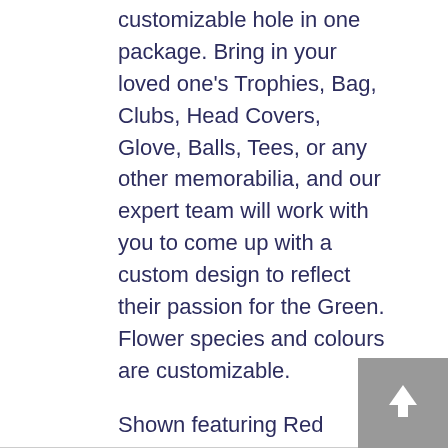customizable hole in one package. Bring in your loved one's Trophies, Bag, Clubs, Head Covers, Glove, Balls, Tees, or any other memorabilia, and our expert team will work with you to come up with a custom design to reflect their passion for the Green. Flower species and colours are customizable.
Shown featuring Red Roses and Spray Roses, Red Gladiolas, succulents, Green Trick, White Orchids, Hypericum Berries, And White Hydrangea and Fancy Greenery. Flowers and vases pictured are subject to availability.